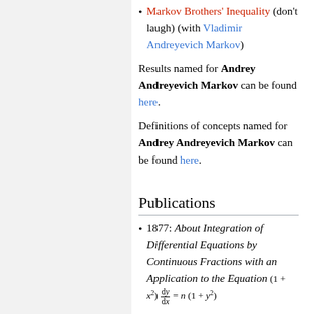Markov Brothers' Inequality (don't laugh) (with Vladimir Andreyevich Markov)
Results named for Andrey Andreyevich Markov can be found here.
Definitions of concepts named for Andrey Andreyevich Markov can be found here.
Publications
1877: About Integration of Differential Equations by Continuous Fractions with an Application to the Equation (1 + x²) dy/dx = n (1 + y²)
April 1880: About Binary...